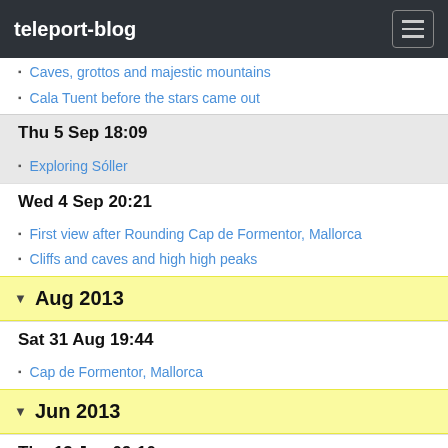teleport-blog
Caves, grottos and majestic mountains
Cala Tuent before the stars came out
Thu 5 Sep 18:09
Exploring Sóller
Wed 4 Sep 20:21
First view after Rounding Cap de Formentor, Mallorca
Cliffs and caves and high high peaks
Aug 2013
Sat 31 Aug 19:44
Cap de Formentor, Mallorca
Jun 2013
Thu 13 Jun 09:10
Real Club Nautica Puerto de Pollensa
Tue 11 Jun 14:39
Puerto de Pollenca
Cabo de Formentor